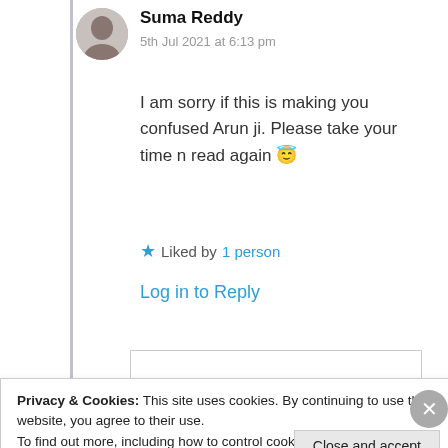Suma Reddy
5th Jul 2021 at 6:13 pm
I am sorry if this is making you confused Arun ji. Please take your time n read again 😇
★ Liked by 1 person
Log in to Reply
Privacy & Cookies: This site uses cookies. By continuing to use this website, you agree to their use.
To find out more, including how to control cookies, see here: Cookie Policy
Close and accept